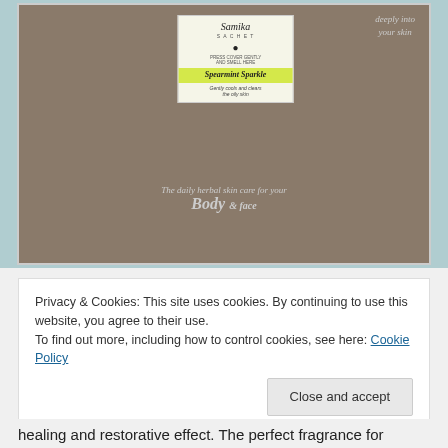[Figure (photo): Photo of a Samika Secret herbal skincare product box. The dark box shows a product label reading 'Spearmint Sparkle – Gently cools and clears the oily skin', with text on the box reading 'The daily herbal skin care for your Body & face' and 'deeply into your skin' on the upper right.]
Privacy & Cookies: This site uses cookies. By continuing to use this website, you agree to their use.
To find out more, including how to control cookies, see here: Cookie Policy
Close and accept
healing and restorative effect. The perfect fragrance for